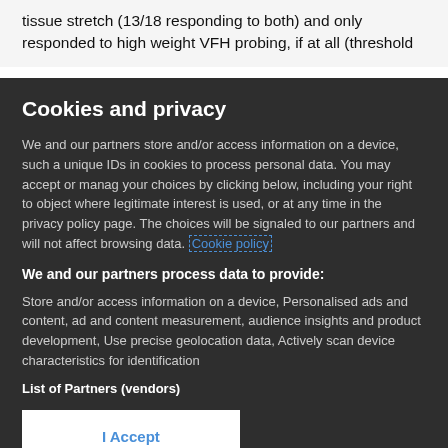tissue stretch (13/18 responding to both) and only responded to high weight VFH probing, if at all (threshold
Cookies and privacy
We and our partners store and/or access information on a device, such a unique IDs in cookies to process personal data. You may accept or manage your choices by clicking below, including your right to object where legitimate interest is used, or at any time in the privacy policy page. These choices will be signaled to our partners and will not affect browsing data. Cookie policy
We and our partners process data to provide:
Store and/or access information on a device, Personalised ads and content, ad and content measurement, audience insights and product development, Use precise geolocation data, Actively scan device characteristics for identification
List of Partners (vendors)
I Accept